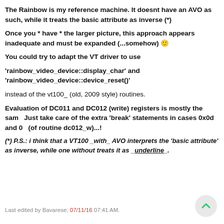The Rainbow is my reference machine. It doesnt have an AVO as such, while it treats the basic attribute as inverse (*)
Once you * have * the larger picture, this approach appears inadequate and must be expanded (...somehow) 🙂
You could try to adapt the VT driver to use
'rainbow_video_device::display_char' and 'rainbow_video_device::device_reset()'
instead of the vt100_ (old, 2009 style) routines.
Evaluation of DC011 and DC012 (write) registers is mostly the same. Just take care of the extra 'break' statements in cases 0x0d and 0 (of routine dc012_w)...!
(*) P.S.: i think that a VT100 _with_ AVO interprets the 'basic attribute' as inverse, while one without treats it as _underline_.
Last edited by Bavarese; 07/11/16 07:41 AM.